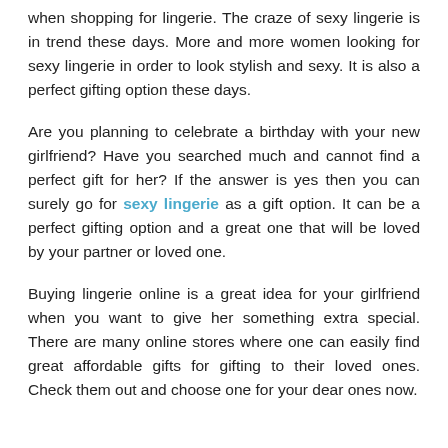when shopping for lingerie. The craze of sexy lingerie is in trend these days. More and more women looking for sexy lingerie in order to look stylish and sexy. It is also a perfect gifting option these days.
Are you planning to celebrate a birthday with your new girlfriend? Have you searched much and cannot find a perfect gift for her? If the answer is yes then you can surely go for sexy lingerie as a gift option. It can be a perfect gifting option and a great one that will be loved by your partner or loved one.
Buying lingerie online is a great idea for your girlfriend when you want to give her something extra special. There are many online stores where one can easily find great affordable gifts for gifting to their loved ones. Check them out and choose one for your dear ones now.